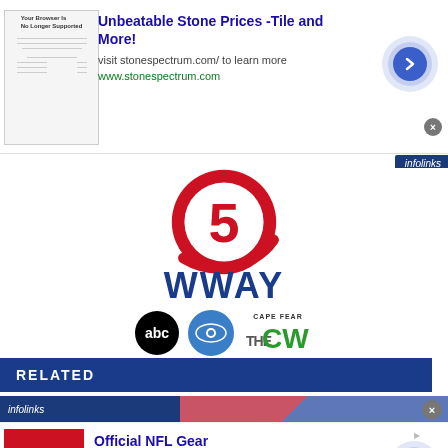[Figure (screenshot): Advertisement banner: Unbeatable Stone Prices - Tile and More! with browser screenshot thumbnail, URL stonespectrum.com, call-to-action arrow button, close button]
[Figure (logo): WWAY TV Channel 5 logo - red circular logo with number 5, WWAY text in blue, ABC, CBS, and CW Cape Fear network logos below]
RELATED
[Figure (screenshot): Infolinks advertisement bar and Official NFL Gear ad with 50% OFF image, description Get Your Favorite Team's Gear Here, www.nflshop.com, arrow CTA button]